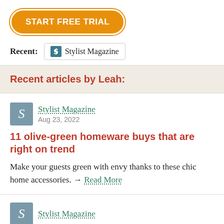[Figure (other): Orange rounded button with white bold text reading 'START FREE TRIAL']
Recent: Stylist Magazine
Recent articles by Leah:
Stylist Magazine
Aug 23, 2022
11 olive-green homeware buys that are right on trend
Make your guests green with envy thanks to these chic home accessories. → Read More
Stylist Magazine